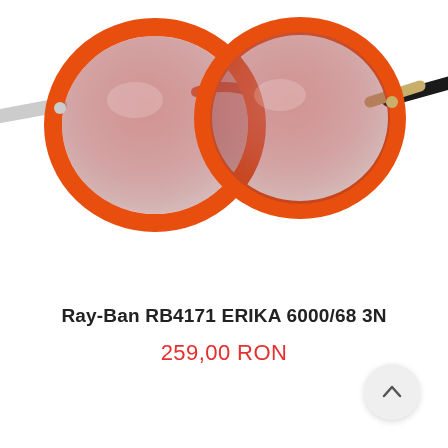[Figure (photo): Orange Ray-Ban RB4171 ERIKA sunglasses with round frames and gradient lenses, photographed on white background, partially cropped showing upper portion]
Ray-Ban RB4171 ERIKA 6000/68 3N
259,00 RON